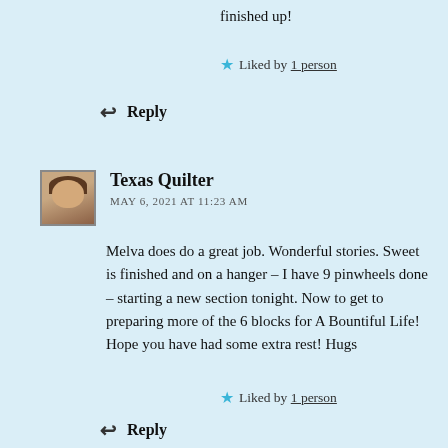finished up!
Liked by 1 person
Reply
Texas Quilter
MAY 6, 2021 AT 11:23 AM
Melva does do a great job. Wonderful stories. Sweet is finished and on a hanger – I have 9 pinwheels done – starting a new section tonight. Now to get to preparing more of the 6 blocks for A Bountiful Life! Hope you have had some extra rest! Hugs
Liked by 1 person
Reply